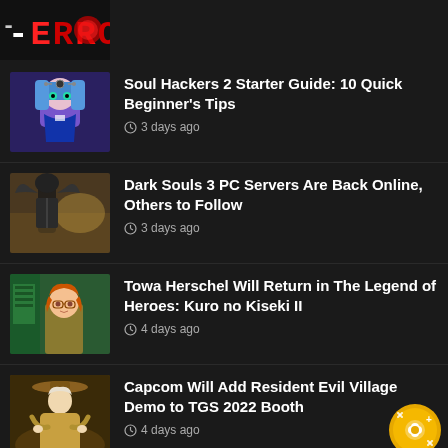[Figure (logo): ERR0 logo with stylized text on dark background]
Soul Hackers 2 Starter Guide: 10 Quick Beginner's Tips — 3 days ago
Dark Souls 3 PC Servers Are Back Online, Others to Follow — 3 days ago
Towa Herschel Will Return in The Legend of Heroes: Kuro no Kiseki II — 4 days ago
Capcom Will Add Resident Evil Village Demo to TGS 2022 Booth — 4 days ago
Ace Combat Zero Lore Video Explains The Belkan War's Background